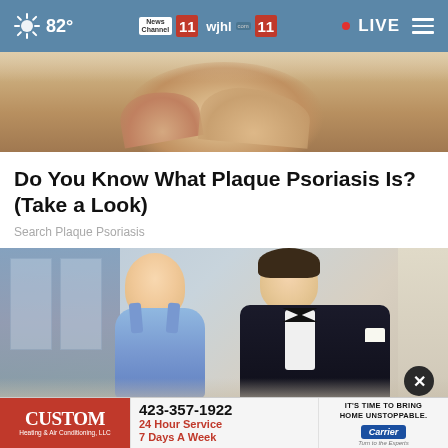82° News Channel 11 wjhl.com 11 • LIVE
[Figure (photo): Close-up photo of foot/ankle area, cropped]
Do You Know What Plaque Psoriasis Is? (Take a Look)
Search Plaque Psoriasis
[Figure (photo): Photo of a smiling blonde woman in blue dress and a man in black tuxedo with bow tie at formal event]
[Figure (other): Advertisement banner: CUSTOM Heating & Air Conditioning, LLC - 423-357-1922, 24 Hour Service, 7 Days A Week, IT'S TIME TO BRING HOME UNSTOPPABLE. Carrier logo.]